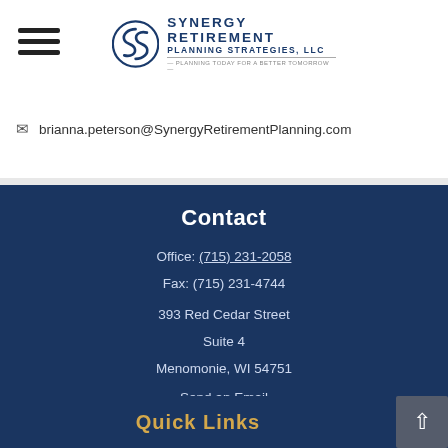[Figure (logo): Synergy Retirement Planning Strategies LLC logo with circular S icon]
brianna.peterson@SynergyRetirementPlanning.com
Contact
Office: (715) 231-2058
Fax: (715) 231-4744
393 Red Cedar Street
Suite 4
Menomonie, WI 54751
Send an Email
[Figure (other): Facebook and LinkedIn social media icon buttons]
Quick Links